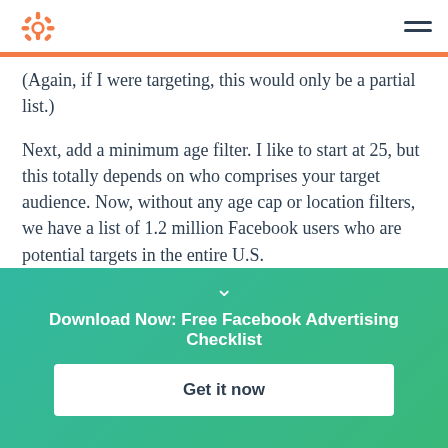HubSpot logo and navigation menu
(Again, if I were targeting, this would only be a partial list.)
Next, add a minimum age filter. I like to start at 25, but this totally depends on who comprises your target audience. Now, without any age cap or location filters, we have a list of 1.2 million Facebook users who are potential targets in the entire U.S.
Download Now: Free Facebook Advertising Checklist
Get it now